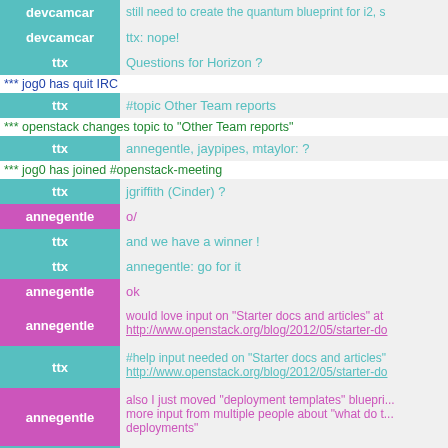devcamcar | still need to create the quantum blueprint for i2...
devcamcar | ttx: nope!
ttx | Questions for Horizon ?
*** jog0 has quit IRC
ttx | #topic Other Team reports
*** openstack changes topic to "Other Team reports"
ttx | annegentle, jaypipes, mtaylor: ?
*** jog0 has joined #openstack-meeting
ttx | jgriffith (Cinder) ?
annegentle | o/
ttx | and we have a winner !
ttx | annegentle: go for it
annegentle | ok
annegentle | would love input on "Starter docs and articles" at http://www.openstack.org/blog/2012/05/starter-do...
ttx | #help input needed on "Starter docs and articles" http://www.openstack.org/blog/2012/05/starter-do...
annegentle | also I just moved "deployment templates" bluepri... more input from multiple people about "what do ... deployments"
ttx | #help Glance reviewers wanted
*** mestery has quit IRC